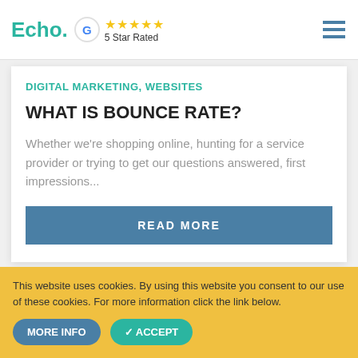Echo. [Google logo] ★★★★★ 5 Star Rated
DIGITAL MARKETING, WEBSITES
WHAT IS BOUNCE RATE?
Whether we're shopping online, hunting for a service provider or trying to get our questions answered, first impressions...
READ MORE
This website uses cookies. By using this website you consent to our use of these cookies. For more information click the link below.
MORE INFO   ACCEPT